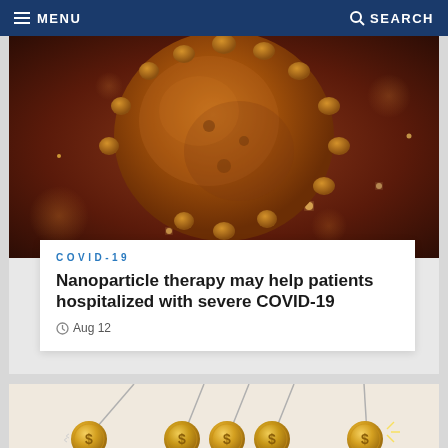MENU   SEARCH
[Figure (photo): Close-up microscopic rendering of a coronavirus particle, brown/orange color with spike proteins, on a blurred background]
COVID-19
Nanoparticle therapy may help patients hospitalized with severe COVID-19
Aug 12
[Figure (illustration): Newton's cradle style illustration with gold dollar-coin pendulums on a beige background, suggesting financial investment or economics]